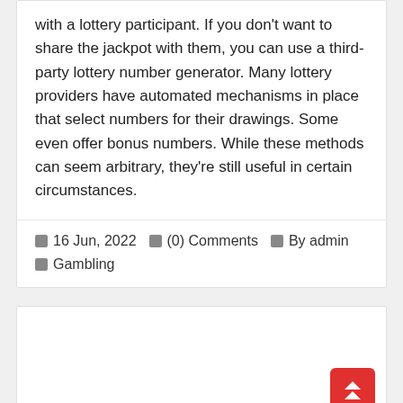with a lottery participant. If you don't want to share the jackpot with them, you can use a third-party lottery number generator. Many lottery providers have automated mechanisms in place that select numbers for their drawings. Some even offer bonus numbers. While these methods can seem arbitrary, they're still useful in certain circumstances.
🗓 16 Jun, 2022  💬 (0) Comments  👤 By admin  🏷 Gambling